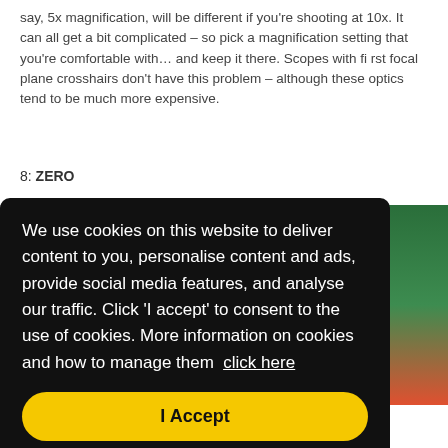say, 5x magnification, will be different if you're shooting at 10x. It can all get a bit complicated – so pick a magnification setting that you're comfortable with… and keep it there. Scopes with first focal plane crosshairs don't have this problem – although these optics tend to be much more expensive.
8: ZERO
[Figure (photo): Partial photo of a rifle scope or related equipment visible on the right side, partially obscured by cookie consent overlay]
We use cookies on this website to deliver content to you, personalise content and ads, provide social media features, and analyse our traffic. Click 'I accept' to consent to the use of cookies. More information on cookies and how to manage them click here
I Accept